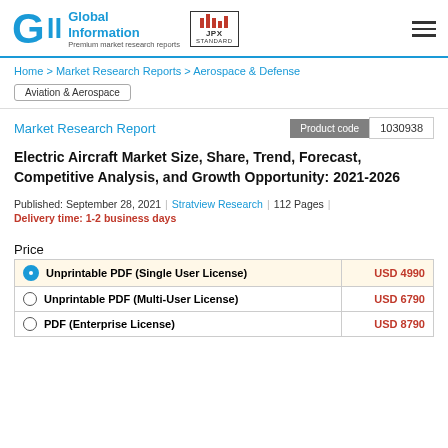GII Global Information Premium market research reports | JPX STANDARD
Home > Market Research Reports > Aerospace & Defense
Aviation & Aerospace
Market Research Report | Product code 1030938
Electric Aircraft Market Size, Share, Trend, Forecast, Competitive Analysis, and Growth Opportunity: 2021-2026
Published: September 28, 2021 | Stratview Research | 112 Pages | Delivery time: 1-2 business days
| License Type | Price |
| --- | --- |
| Unprintable PDF (Single User License) | USD 4990 |
| Unprintable PDF (Multi-User License) | USD 6790 |
| PDF (Enterprise License) | USD 8790 |